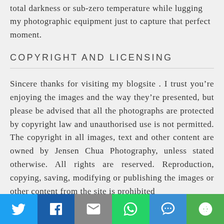total darkness or sub-zero temperature while lugging my photographic equipment just to capture that perfect moment.
COPYRIGHT AND LICENSING
Sincere thanks for visiting my blogsite . I trust you’re enjoying the images and the way they’re presented, but please be advised that all the photographs are protected by copyright law and unauthorised use is not permitted. The copyright in all images, text and other content are owned by Jensen Chua Photography, unless stated otherwise. All rights are reserved. Reproduction, copying, saving, modifying or publishing the images or other content from the site is prohibited
[Figure (infographic): Social media share bar with six buttons: Twitter (blue), Facebook (dark blue), Email (grey), WhatsApp (green), SMS (blue), More (green)]